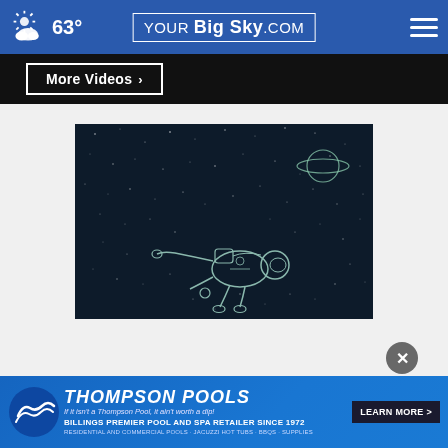63° YourBigSky.com
More Videos ›
[Figure (illustration): Illustration of an astronaut floating in space against a dark starry background, drawn in white outline style. A ringed planet (Saturn-like) is visible in the upper right.]
[Figure (infographic): Thompson Pools advertisement banner. Blue background with pool wave logo, brand name in italic bold white text, tagline 'If it isn't a Thompson Pool, it ain't worth a dip!', 'BILLINGS PREMIER POOL AND SPA RETAILER SINCE 1972', 'RESIDENTIAL AND COMMERCIAL POOLS · JACUZZI HOT TUBS · BBQS · SUPPLIES', and a 'LEARN MORE >' button.]